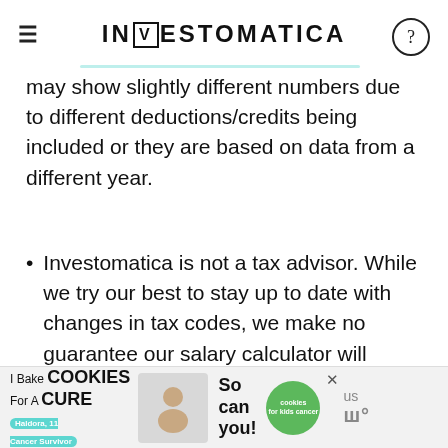INVESTOMATICA
may show slightly different numbers due to different deductions/credits being included or they are based on data from a different year.
Investomatica is not a tax advisor. While we try our best to stay up to date with changes in tax codes, we make no guarantee our salary calculator will always be accurate. Generally, we review changes once a year. If you notice a major miscalculation or error with our salary calculator (most likely caused by a typo somewhere), feel free to
[Figure (advertisement): I Bake COOKIES For A CURE - Haldora, 11 Cancer Survivor - So can you! - cookies for kids cancer advertisement banner]